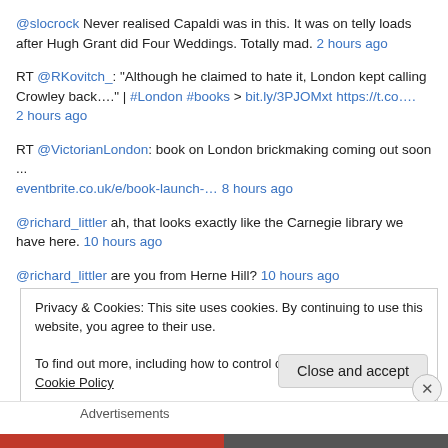@slocrock Never realised Capaldi was in this. It was on telly loads after Hugh Grant did Four Weddings. Totally mad. 2 hours ago
RT @RKovitch_: "Although he claimed to hate it, London kept calling Crowley back…." | #London #books > bit.ly/3PJOMxt https://t.co…. 2 hours ago
RT @VictorianLondon: book on London brickmaking coming out soon ... eventbrite.co.uk/e/book-launch-… 8 hours ago
@richard_littler ah, that looks exactly like the Carnegie library we have here. 10 hours ago
@richard_littler are you from Herne Hill? 10 hours ago
Privacy & Cookies: This site uses cookies. By continuing to use this website, you agree to their use.
To find out more, including how to control cookies, see here: Cookie Policy
Close and accept
Advertisements